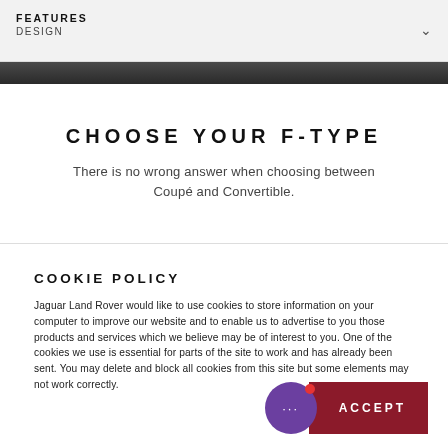FEATURES DESIGN
[Figure (photo): Dark textured image strip banner]
CHOOSE YOUR F-TYPE
There is no wrong answer when choosing between Coupé and Convertible.
COOKIE POLICY
Jaguar Land Rover would like to use cookies to store information on your computer to improve our website and to enable us to advertise to you those products and services which we believe may be of interest to you. One of the cookies we use is essential for parts of the site to work and has already been sent. You may delete and block all cookies from this site but some elements may not work correctly.